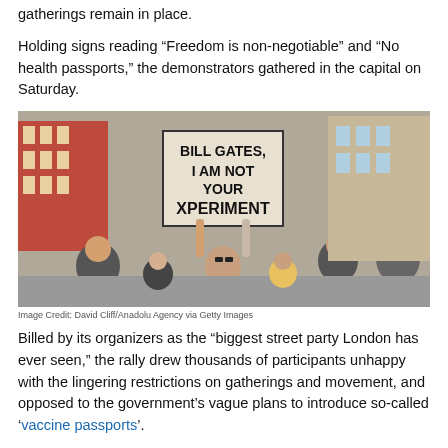gatherings remain in place.
Holding signs reading “Freedom is non-negotiable” and “No health passports,” the demonstrators gathered in the capital on Saturday.
[Figure (photo): Protest crowd in London street, central figure holding sign reading BILL GATES, I AM NOT YOUR EXPERIMENT]
Image Credit: David Cliff/Anadolu Agency via Getty Images
Billed by its organizers as the “biggest street party London has ever seen,” the rally drew thousands of participants unhappy with the lingering restrictions on gatherings and movement, and opposed to the government’s vague plans to introduce so-called ‘vaccine passports’.
Actor and mayoral candidate Laurence Fox, who has promised to do away with Covid-19 restrictions entirely if elected, was an